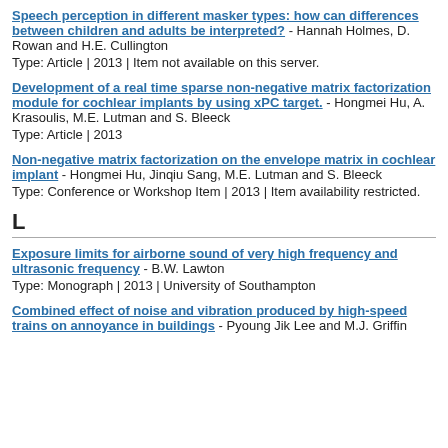Speech perception in different masker types: how can differences between children and adults be interpreted? - Hannah Holmes, D. Rowan and H.E. Cullington
Type: Article | 2013 | Item not available on this server.
Development of a real time sparse non-negative matrix factorization module for cochlear implants by using xPC target. - Hongmei Hu, A. Krasoulis, M.E. Lutman and S. Bleeck
Type: Article | 2013
Non-negative matrix factorization on the envelope matrix in cochlear implant - Hongmei Hu, Jinqiu Sang, M.E. Lutman and S. Bleeck
Type: Conference or Workshop Item | 2013 | Item availability restricted.
L
Exposure limits for airborne sound of very high frequency and ultrasonic frequency - B.W. Lawton
Type: Monograph | 2013 | University of Southampton
Combined effect of noise and vibration produced by high-speed trains on annoyance in buildings - Pyoung Jik Lee and M.J. Griffin